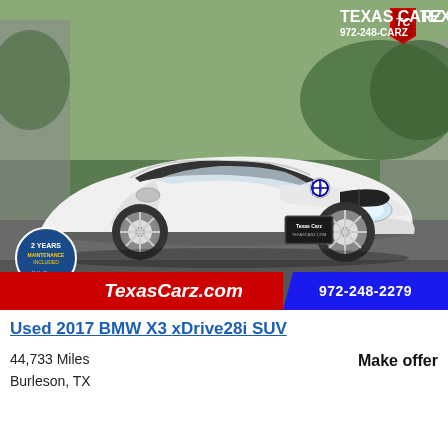[Figure (photo): White BMW convertible (3 Series) parked on a lot, top down, front three-quarter view. Texas Carz dealership logo visible top right with '972-248-CARZ'. Red and blue TexasCarz.com banner with phone 972-248-2279 at bottom of photo. '2 Years Maintenance Included' badge at lower left.]
Used 2017 BMW X3 xDrive28i SUV
44,733 Miles
Burleson, TX
Make offer